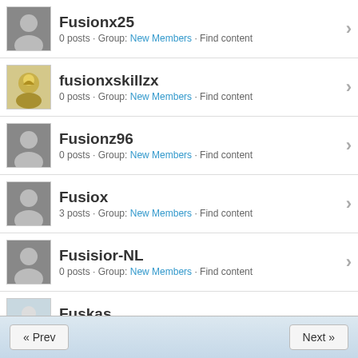Fusionx25 · 0 posts · Group: New Members · Find content
fusionxskillzx · 0 posts · Group: New Members · Find content
Fusionz96 · 0 posts · Group: New Members · Find content
Fusiox · 3 posts · Group: New Members · Find content
Fusisior-NL · 0 posts · Group: New Members · Find content
Fuskas · 0 posts · Group: New Members · Find content
Fuskerfinn · 0 posts · Group: New Members · Find content
« Prev   Next »